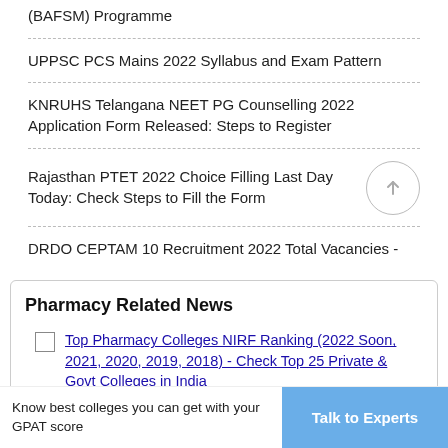(BAFSM) Programme
UPPSC PCS Mains 2022 Syllabus and Exam Pattern
KNRUHS Telangana NEET PG Counselling 2022 Application Form Released: Steps to Register
Rajasthan PTET 2022 Choice Filling Last Day Today: Check Steps to Fill the Form
DRDO CEPTAM 10 Recruitment 2022 Total Vacancies -
Pharmacy Related News
Top Pharmacy Colleges NIRF Ranking (2022 Soon, 2021, 2020, 2019, 2018) - Check Top 25 Private & Govt Colleges in India
Know best colleges you can get with your GPAT score
Talk to Experts